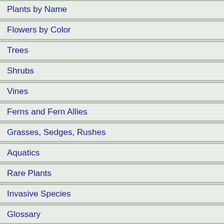Plants by Name
Flowers by Color
Trees
Shrubs
Vines
Ferns and Fern Allies
Grasses, Sedges, Rushes
Aquatics
Rare Plants
Invasive Species
Glossary